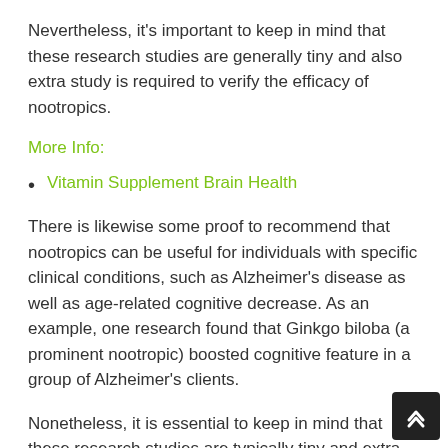Nevertheless, it's important to keep in mind that these research studies are generally tiny and also extra study is required to verify the efficacy of nootropics.
More Info:
Vitamin Supplement Brain Health
There is likewise some proof to recommend that nootropics can be useful for individuals with specific clinical conditions, such as Alzheimer's disease as well as age-related cognitive decrease. As an example, one research found that Ginkgo biloba (a prominent nootropic) boosted cognitive feature in a group of Alzheimer's clients.
Nonetheless, it is essential to keep in mind that these research studies are typically tiny and extra